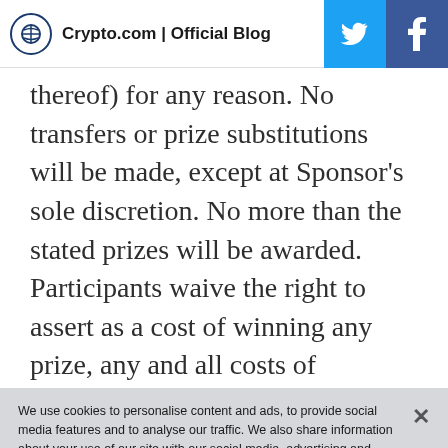Crypto.com | Official Blog
thereof) for any reason. No transfers or prize substitutions will be made, except at Sponsor’s sole discretion. No more than the stated prizes will be awarded. Participants waive the right to assert as a cost of winning any prize, any and all costs of
We use cookies to personalise content and ads, to provide social media features and to analyse our traffic. We also share information about your use of our site with our social media, advertising and analytics partners.
Customize Settings
Disable All
Accept All